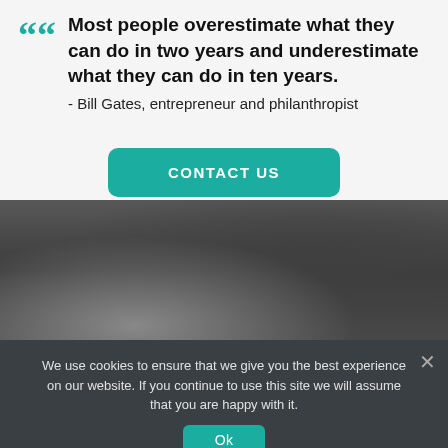Most people overestimate what they can do in two years and underestimate what they can do in ten years. - Bill Gates, entrepreneur and philanthropist
[Figure (screenshot): A CONTACT US button with teal/green background and white uppercase text]
[Figure (photo): Dark grey blurred photo background section]
We use cookies to ensure that we give you the best experience on our website. If you continue to use this site we will assume that you are happy with it.